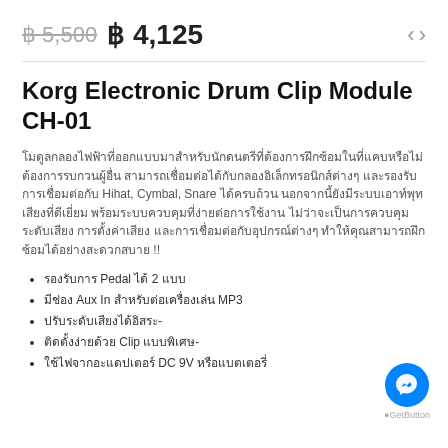฿ 5,500  ฿ 4,125
Korg Electronic Drum Clip Module CH-01
โมดูลกลองไฟฟ้าที่ออกแบบมาสำหรับนักดนตรีที่ต้องการฝึกซ้อมในที่แคบหรือไม่ต้องการรบกวนผู้อื่น สามารถเชื่อมต่อได้กับกลองอิเล็กทรอนิกส์ต่างๆ และรองรับการเชื่อมต่อกับ Hihat, Cymbal, Snare ได้ครบถ้วน นอกจากนี้ยังมีระบบเอาท์พุทเสียงที่ดีเยี่ยม พร้อมระบบควบคุมที่ง่ายต่อการใช้งาน ไม่ว่าจะเป็นการควบคุมระดับเสียง การตั้งค่าเสียง และการเชื่อมต่อกับอุปกรณ์ต่างๆ ทำให้คุณสามารถฝึกซ้อมได้อย่างสะดวกสบาย !!
รองรับการ Pedal ได้ 2 แบบ
มีช่อง Aux In สำหรับต่อเครื่องเล่น MP3
ปรับระดับเสียงได้อิสระ-
ติดตั้งง่ายด้วย Clip แบบพิเศษ-
ใช้ไฟจากอะแดปเตอร์ DC 9V หรือแบตเตอรี่